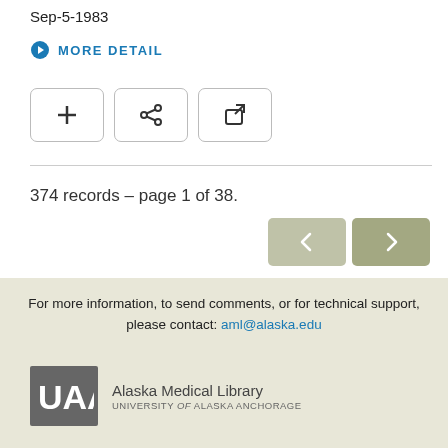Sep-5-1983
MORE DETAIL
[Figure (screenshot): Three icon buttons: plus (+), share, and external link]
374 records – page 1 of 38.
[Figure (screenshot): Previous and next navigation buttons with arrow icons]
For more information, to send comments, or for technical support, please contact: aml@alaska.edu
[Figure (logo): UAA Alaska Medical Library, University of Alaska Anchorage logo]